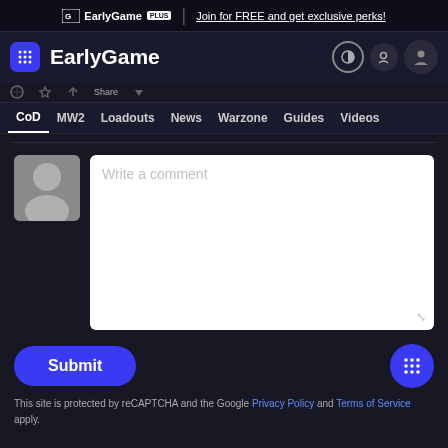EarlyGame PLUS | Join for FREE and get exclusive perks!
EarlyGame
CoD MW2 Loadouts News Warzone Guides Videos
Write a comment
Submit
This site is protected by reCAPTCHA and the Google Privacy Policy and Terms of Service apply.